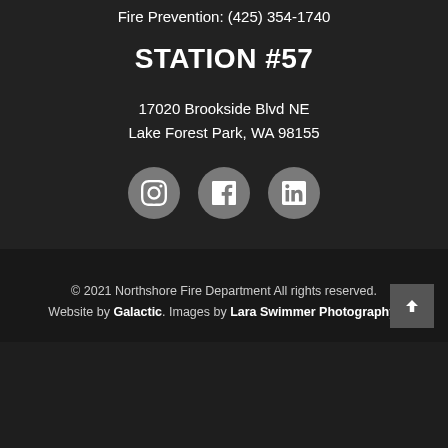Fire Prevention: (425) 354-1740
STATION #57
17020 Brookside Blvd NE
Lake Forest Park, WA 98155
[Figure (infographic): Three social media icon circles: Instagram, Facebook, LinkedIn]
© 2021 Northshore Fire Department All rights reserved. Website by Galactic. Images by Lara Swimmer Photography.